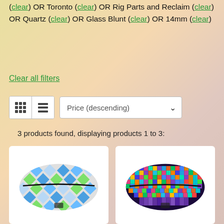(clear) OR Toronto (clear) OR Rig Parts and Reclaim (clear) OR Quartz (clear) OR Glass Blunt (clear) OR 14mm (clear)
Clear all filters
3 products found, displaying products 1 to 3:
[Figure (photo): Fanny pack with blue, green and white geometric diamond pattern design]
[Figure (photo): Fanny pack with colorful pixel/mosaic pattern in blue, purple, orange and teal]